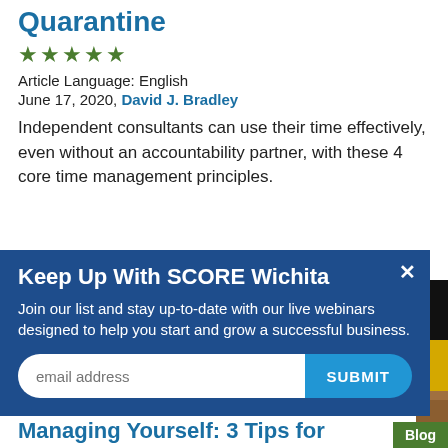Quarantine
★★★★★
Article Language: English
June 17, 2020, David J. Bradley
Independent consultants can use their time effectively, even without an accountability partner, with these 4 core time management principles.
[Figure (photo): Person working at laptop, viewed from above, wearing orange top]
Keep Up With SCORE Wichita
Join our list and stay up-to-date with our live webinars designed to help you start and grow a successful business.
email address
Managing Yourself: 3 Tips for